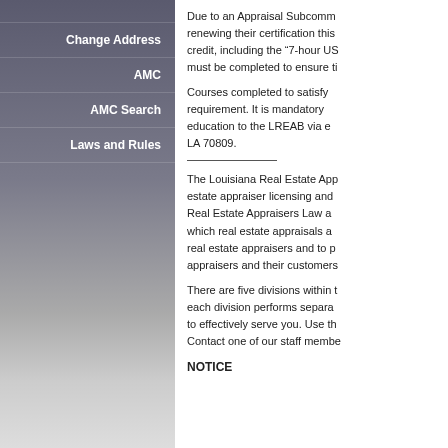Change Address
AMC
AMC Search
Laws and Rules
Due to an Appraisal Subcomm... renewing their certification this... credit, including the “7-hour US… must be completed to ensure ti…
Courses completed to satisfy… requirement. It is mandatory… education to the LREAB via e… LA 70809.
The Louisiana Real Estate App… estate appraiser licensing and… Real Estate Appraisers Law a… which real estate appraisals a… real estate appraisers and to p… appraisers and their customers…
There are five divisions within t… each division performs separa… to effectively serve you. Use th… Contact one of our staff membe…
NOTICE